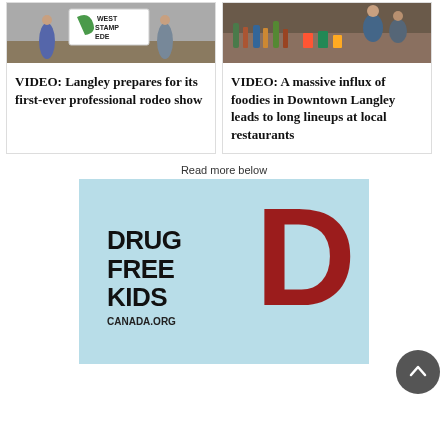[Figure (photo): Photo of people near a West Stampede sign outdoors]
VIDEO: Langley prepares for its first-ever professional rodeo show
[Figure (photo): Photo of a busy food counter/restaurant scene]
VIDEO: A massive influx of foodies in Downtown Langley leads to long lineups at local restaurants
Read more below
[Figure (illustration): Drug Free Kids Canada.org advertisement with large red D letter on light blue background]